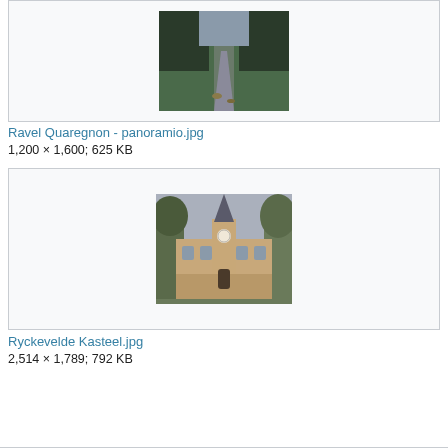[Figure (photo): A paved path through a park or woodland area with trees on both sides, autumn foliage on the ground.]
Ravel Quaregnon - panoramio.jpg
1,200 × 1,600; 625 KB
[Figure (photo): A large historic castle-like building (Ryckevelde Kasteel) with a central tower/spire, surrounded by trees under an overcast sky.]
Ryckevelde Kasteel.jpg
2,514 × 1,789; 792 KB